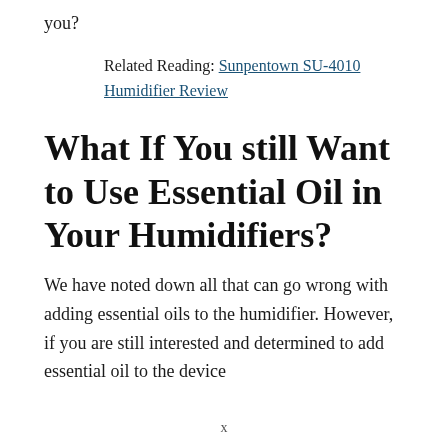you?
Related Reading: Sunpentown SU-4010 Humidifier Review
What If You still Want to Use Essential Oil in Your Humidifiers?
We have noted down all that can go wrong with adding essential oils to the humidifier. However, if you are still interested and determined to add essential oil to the device
x